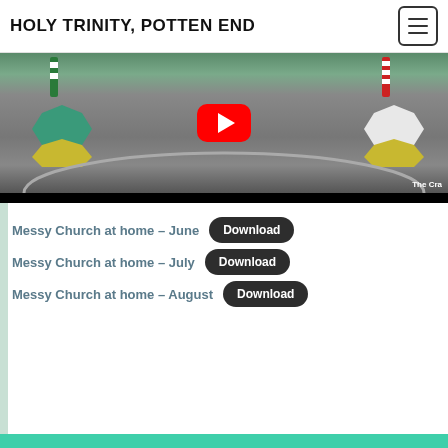HOLY TRINITY, POTTEN END
[Figure (screenshot): YouTube video thumbnail showing two sponge figures (crafts) made from kitchen sponges — a green/teal one on the left and a red/white striped one on the right — in a metal basin. A large red YouTube play button is centered on the image. Bottom-right watermark reads 'The Cra']
Messy Church at home – June
Download
Messy Church at home – July
Download
Messy Church at home – August
Download